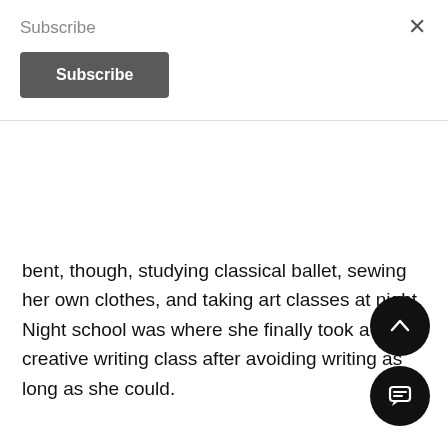Subscribe
Subscribe
bent, though, studying classical ballet, sewing her own clothes, and taking art classes at night. Night school was where she finally took a creative writing class after avoiding writing as long as she could.
“I put pen to paper for the first time when I was 35, had my first novel published when I was 45. If anyone told my high school self I